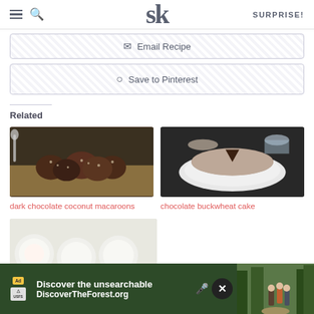SK — SURPRISE!
Email Recipe
Save to Pinterest
Related
[Figure (photo): Dark chocolate coconut macaroons on a yellow platter with a spoon in the background]
dark chocolate coconut macaroons
[Figure (photo): Chocolate buckwheat cake dusted with powdered sugar on a white plate, dark background]
chocolate buckwheat cake
[Figure (photo): Round white cookies or biscuits partially visible at bottom left]
[Figure (screenshot): Ad banner: Discover the unsearchable — DiscoverTheForest.org with forest hikers image]